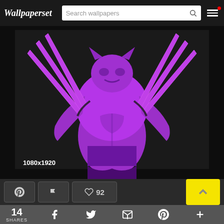Wallpaperset | Search wallpapers
[Figure (illustration): Purple/magenta pop-art style illustration of Wolverine with adamantium claws extended in an X pattern against a dark background. Resolution label '1080x1920' shown at bottom left.]
1080x1920
[Figure (other): Action bar with Pinterest icon button, flag icon button, heart/like button showing 92 likes, and yellow scroll-to-top button with up chevron]
14 SHARES [Facebook] [Twitter] [Email] [Pinterest] [+]